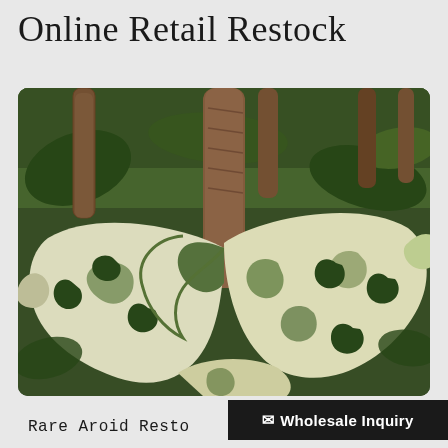Online Retail Restock
[Figure (photo): Close-up photo of a variegated Monstera plant (likely Monstera deliciosa 'Albo Variegata') with large white and green fenestrated leaves on a moss pole, in a greenhouse setting with other tropical plants in the background.]
Rare Aroid Resto
✉ Wholesale Inquiry